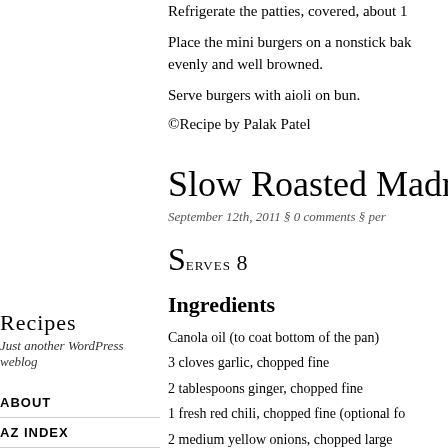Refrigerate the patties, covered, about 1
Place the mini burgers on a nonstick bak evenly and well browned.
Serve burgers with aioli on bun.
©Recipe by Palak Patel
Slow Roasted Madr
September 12th, 2011 § 0 comments § per
Serves 8
Ingredients
Canola oil (to coat bottom of the pan)
3 cloves garlic, chopped fine
2 tablespoons ginger, chopped fine
1 fresh red chili, chopped fine (optional fo
2 medium yellow onions, chopped large
5-6 fresh curry leaves (optional)
1 4-5 pound leg of lamb trimmed, bone in
Recipes
Just another WordPress weblog
ABOUT
AZ INDEX
FEED